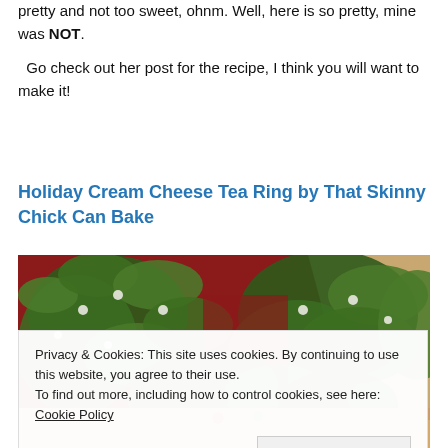pretty and not too sweet, ohnm. Well, here is so pretty, mine was NOT.
Go check out her post for the recipe, I think you will want to make it!
Holiday Cream Cheese Tea Ring by That Skinny Chick Can Bake
[Figure (photo): Photo of holiday wreath decoration with green foliage and red background]
Privacy & Cookies: This site uses cookies. By continuing to use this website, you agree to their use.
To find out more, including how to control cookies, see here: Cookie Policy
Close and accept